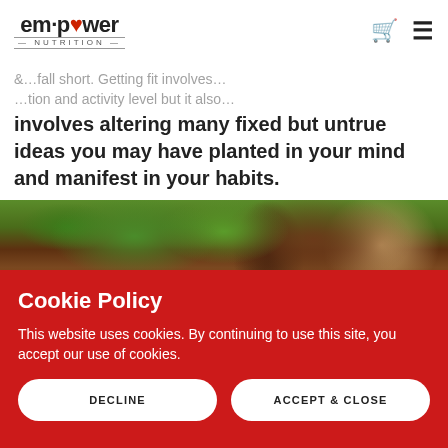em·power NUTRITION
involves altering many fixed but untrue ideas you may have planted in your mind and manifest in your habits.
[Figure (photo): Close-up photo of green leaves and a dark brown tree trunk or bottle, blurred background]
Cookie Policy
This website uses cookies. By continuing to use this site, you accept our use of cookies.
DECLINE
ACCEPT & CLOSE